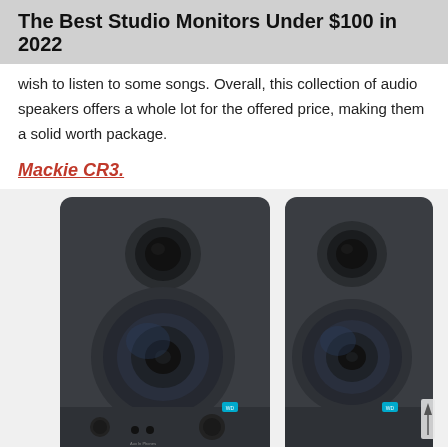The Best Studio Monitors Under $100 in 2022
wish to listen to some songs. Overall, this collection of audio speakers offers a whole lot for the offered price, making them a solid worth package.
Mackie CR3.
[Figure (photo): Photo of two dark grey/black studio monitor speakers (Mackie CR3 or similar PreSonus) side by side, showing tweeter on top and woofer in the middle, with controls at bottom including knobs and headphone jacks, and a small cyan/blue logo badge on the front.]